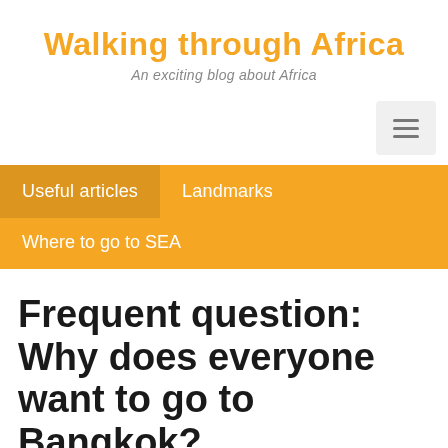Walking through Africa
An exciting blog about Africa
Useful articles   Landmarks   Where to go to SEA
Frequent question: Why does everyone want to go to Bangkok?